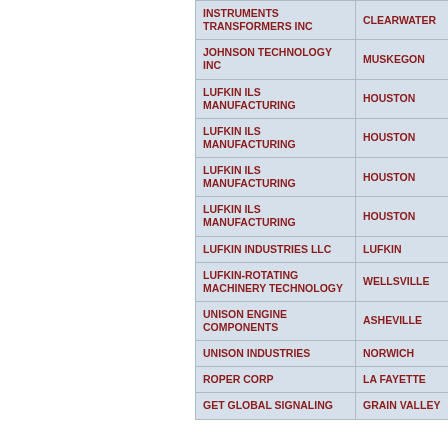| Company | City | State |
| --- | --- | --- |
| INSTRUMENTS TRANSFORMERS INC | CLEARWATER | FL |
| JOHNSON TECHNOLOGY INC | MUSKEGON | M |
| LUFKIN ILS MANUFACTURING | HOUSTON | TX |
| LUFKIN ILS MANUFACTURING | HOUSTON | TX |
| LUFKIN ILS MANUFACTURING | HOUSTON | TX |
| LUFKIN ILS MANUFACTURING | HOUSTON | TX |
| LUFKIN INDUSTRIES LLC | LUFKIN | TX |
| LUFKIN-ROTATING MACHINERY TECHNOLOGY | WELLSVILLE | NY |
| UNISON ENGINE COMPONENTS | ASHEVILLE | NC |
| UNISON INDUSTRIES | NORWICH | NY |
| ROPER CORP | LA FAYETTE | GA |
| GET GLOBAL SIGNALING | GRAIN VALLEY | M |